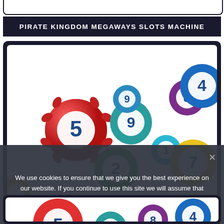PIRATE KINGDOM MEGAWAYS SLOTS MACHINE
[Figure (illustration): Colorful numbered lottery/bingo balls (5 red, 9 teal, 8 purple, 4 blue, 1 cyan, 2 green, 7 yellow) scattered on white background]
We use cookies to ensure that we give you the best experience on our website. If you continue to use this site we will assume that you are happy with it.
[Figure (illustration): Partial view of colorful numbered lottery/bingo balls (5 red, 9 teal, 8 purple, 4 blue, 1 cyan) scattered on white background - bottom cropped section]